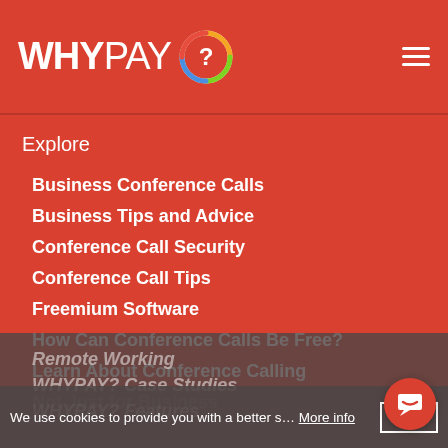WHYPAY?
Explore
Business Conference Calls
Business Tips and Advice
Conference Call Security
Conference Call Tips
Freemium Software
How Can Conference Calls Be Free?
Learn About Conference Calling
Not Just for Business
Remote Working
WHYPAY? Case Studies
WHYPAY? Features
We use cookies to provide you with a better s…
More info   OK